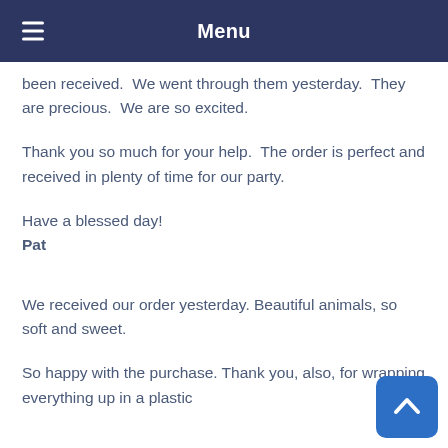Menu
been received.  We went through them yesterday.  They are precious.  We are so excited.
Thank you so much for your help.  The order is perfect and received in plenty of time for our party.
Have a blessed day!
Pat
We received our order yesterday. Beautiful animals, so soft and sweet.
So happy with the purchase. Thank you, also, for wrapping everything up in a plastic